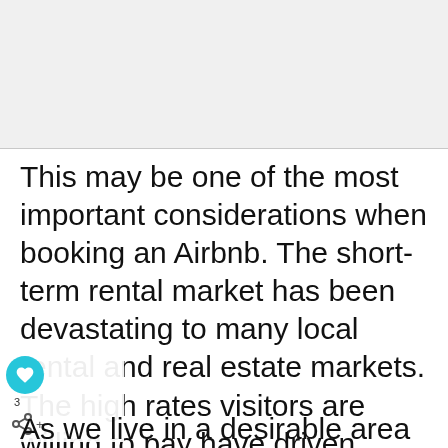[Figure (photo): Light gray placeholder image area at the top of the page]
This may be one of the most important considerations when booking an Airbnb. The short-term rental market has been devastating to many local rental and real estate markets. The high rates visitors are willing to pay have driven many locals from neighborhoods.
As we live in a desirable area of the